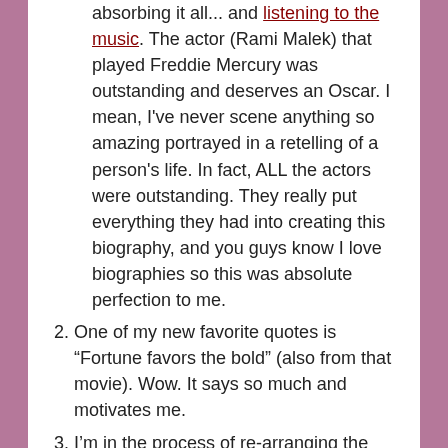absorbing it all... and listening to the music. The actor (Rami Malek) that played Freddie Mercury was outstanding and deserves an Oscar. I mean, I've never scene anything so amazing portrayed in a retelling of a person's life. In fact, ALL the actors were outstanding. They really put everything they had into creating this biography, and you guys know I love biographies so this was absolute perfection to me.
One of my new favorite quotes is “Fortune favors the bold” (also from that movie). Wow. It says so much and motivates me.
I’m in the process of re-arranging the blog so that it is easier to navigate (a lot of the work is behind the scenes, with proper tagging and revamping the top main menu bar and side menus/columns) and soon, whatever your “book catnip”, it will be SO much easier to find a list for exactly what you’re in the mood for. ☺ I’m a list maker and an organizer at heart, so I’m totally having fun!!